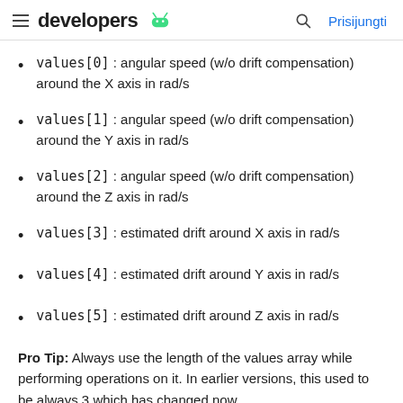developers  Prisijungti
values[0] : angular speed (w/o drift compensation) around the X axis in rad/s
values[1] : angular speed (w/o drift compensation) around the Y axis in rad/s
values[2] : angular speed (w/o drift compensation) around the Z axis in rad/s
values[3] : estimated drift around X axis in rad/s
values[4] : estimated drift around Y axis in rad/s
values[5] : estimated drift around Z axis in rad/s
Pro Tip: Always use the length of the values array while performing operations on it. In earlier versions, this used to be always 3 which has changed now.